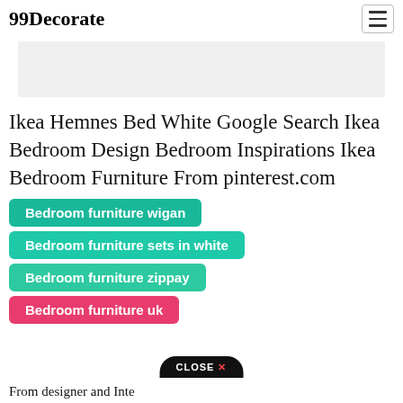99Decorate
[Figure (other): Gray advertisement banner placeholder]
Ikea Hemnes Bed White Google Search Ikea Bedroom Design Bedroom Inspirations Ikea Bedroom Furniture From pinterest.com
Bedroom furniture wigan
Bedroom furniture sets in white
Bedroom furniture zippay
Bedroom furniture uk
CLOSE X
From designer and Interior decoration D...